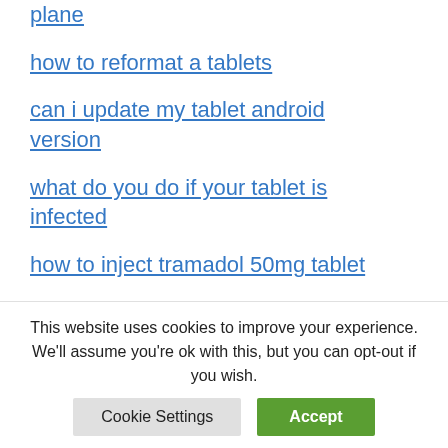plane
how to reformat a tablets
can i update my tablet android version
what do you do if your tablet is infected
how to inject tramadol 50mg tablet
what is the best cheap tablet
are amazon tablets android
This website uses cookies to improve your experience. We'll assume you're ok with this, but you can opt-out if you wish.